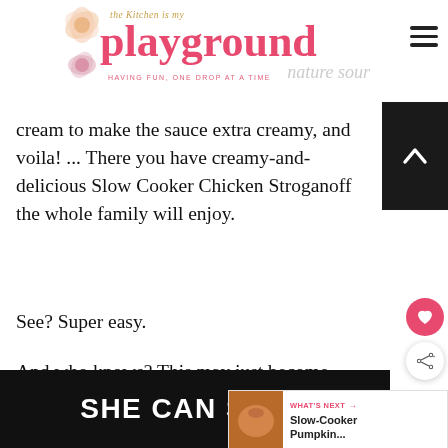the Kitchen is my playground — HAVING FUN, ONE DROP AT A TIME
cream to make the sauce extra creamy, and voila! ... There you have creamy-and-delicious Slow Cooker Chicken Stroganoff the whole family will enjoy.
See?  Super easy.
And who knows?  This may just become your new weeknight favorite!
[Figure (other): WHAT'S NEXT arrow — Slow-Cooker Pumpkin... widget with thumbnail image]
[Figure (other): SHE CAN STEM advertisement banner on dark background]